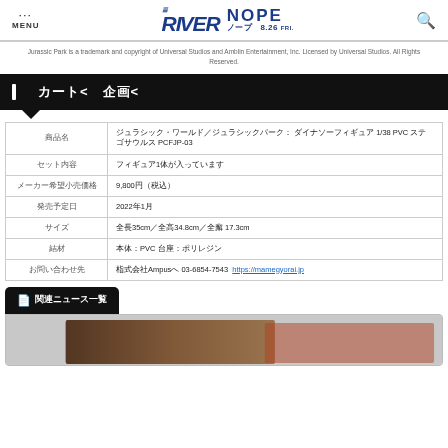MENU | THE RIVER NOPE 8.26 FRI.
Jurassic Park is a trademark and copyright of Universal Studios and Amblin Entertainment, Inc. Licensed by Universal Studios. All Rights Reserved.
商品情報
|  |  |
| --- | --- |
| 商品名 | ジュラシック・ワールド/ジュラシックパーク: ダイナソーフィギュア 1/38 PVC ステゴサウルス PCFJP-03 |
| セット内容 | フィギュア1体が入っています |
| メーカー希望小売価格 | 9,800円（税込） |
| 発売予定日 | 2022年1月 |
| サイズ | 全長35cm/全高34.8cm/全幅 17.3cm |
| 素材 | 本体:PVC 台座:ポリレジン |
| お問い合わせ先 | 株式会社Ampusへ 03-6854-7543  https://mamegyorai.jp |
関連ニュース一覧
[Figure (photo): Movie scene image preview at bottom of page]